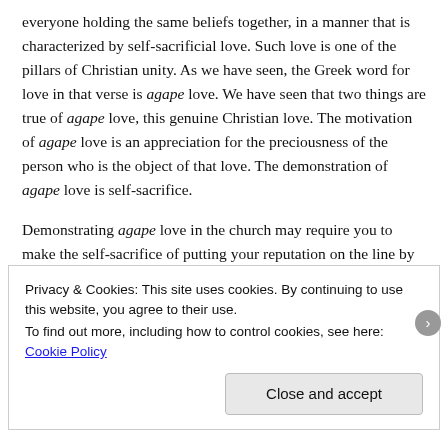everyone holding the same beliefs together, in a manner that is characterized by self-sacrificial love. Such love is one of the pillars of Christian unity. As we have seen, the Greek word for love in that verse is agape love. We have seen that two things are true of agape love, this genuine Christian love. The motivation of agape love is an appreciation for the preciousness of the person who is the object of that love. The demonstration of agape love is self-sacrifice.
Demonstrating agape love in the church may require you to make the self-sacrifice of putting your reputation on the line by sounding the alarm about apostasy.
Privacy & Cookies: This site uses cookies. By continuing to use this website, you agree to their use. To find out more, including how to control cookies, see here: Cookie Policy